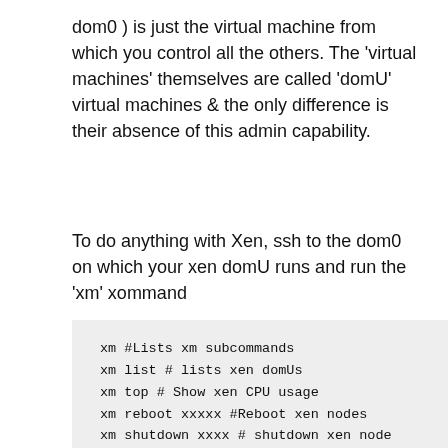dom0 ) is just the virtual machine from which you control all the others. The 'virtual machines' themselves are called 'domU' virtual machines & the only difference is their absence of this admin capability.
To do anything with Xen, ssh to the dom0 on which your xen domU runs and run the 'xm' xommand
xm #Lists xm subcommands
xm list # lists xen domUs
xm top # Show xen CPU usage
xm reboot xxxxx #Reboot xen nodes
xm shutdown xxxx # shutdown xen node
xm destry xxxx # equivalent of pulling po
xm create xxxx.cfg #Boot a xen node (note
xm console xxx # Attach to the console of